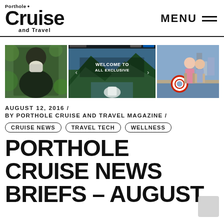Porthole Cruise and Travel — MENU
[Figure (photo): Three photos side by side: left — man with white beard outdoors in green setting; center — Crystal Cruises website screenshot with mountains and text 'WELCOME TO ALL EXCLUSIVE'; right — two people posing on a cruise ship deck with a life preserver ring]
AUGUST 12, 2016 /
BY PORTHOLE CRUISE AND TRAVEL MAGAZINE /
CRUISE NEWS  TRAVEL TECH  WELLNESS
PORTHOLE CRUISE NEWS BRIEFS – AUGUST